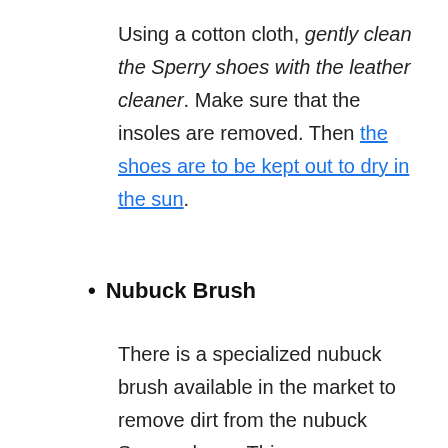Using a cotton cloth, gently clean the Sperry shoes with the leather cleaner. Make sure that the insoles are removed. Then the shoes are to be kept out to dry in the sun.
Nubuck Brush
There is a specialized nubuck brush available in the market to remove dirt from the nubuck Sperry shoes. This